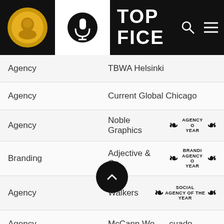[Figure (logo): TOP FICE website header with gold medal icon, microphone icon on white background, and TOP FICE text in white on black]
Agency | TBWA Helsinki
Agency | Current Global Chicago
Agency | Noble Graphics — AGENCY OF THE YEAR
Branding | Adjective & Co. — BRANDING AGENCY OF THE YEAR
Agency | Walkers — SOCIAL AGENCY OF THE YEAR
Agency | McCann Wo[rldgroup Ec]uado[r]
Agency | Havas Portugal